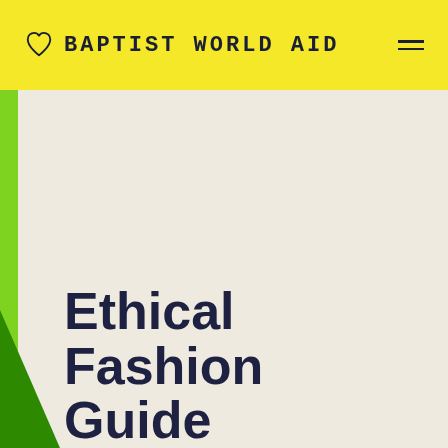BAPTIST WORLD AID
Ethical Fashion Guide